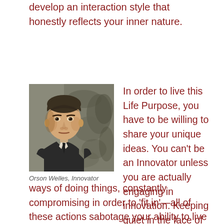develop an interaction style that honestly reflects your inner nature.
[Figure (photo): Black and white portrait photograph of Orson Welles, a young man in a suit and tie, with a patterned background.]
Orson Welles, Innovator
In order to live this Life Purpose, you have to be willing to share your unique ideas. You can't be an Innovator unless you are actually engaging in innovation. Keeping quiet in the face of criticism, adopting only generally-accepted ways of doing things, constantly compromising in order to 'fit in'—all of these actions sabotage your ability to live the Innovator purpose, because they take you out of integrity with yourself.